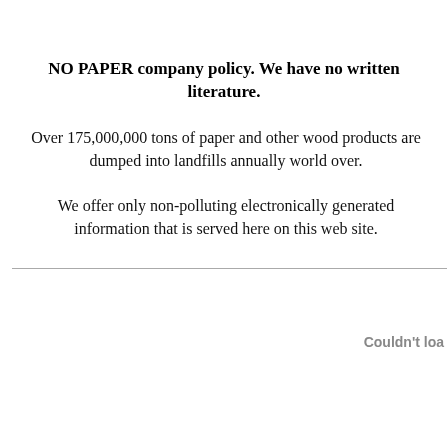NO PAPER company policy. We have no written literature.
Over 175,000,000 tons of paper and other wood products are dumped into landfills annually world over.
We offer only non-polluting electronically generated information that is served here on this web site.
Couldn't loa